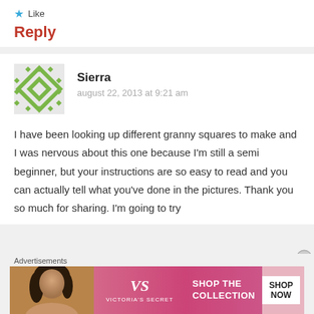★ Like
Reply
[Figure (illustration): Green geometric patterned avatar icon for user Sierra]
Sierra
august 22, 2013 at 9:21 am
I have been looking up different granny squares to make and I was nervous about this one because I'm still a semi beginner, but your instructions are so easy to read and you can actually tell what you've done in the pictures. Thank you so much for sharing. I'm going to try
Advertisements
[Figure (photo): Victoria's Secret advertisement banner showing a woman and text SHOP THE COLLECTION with SHOP NOW button]